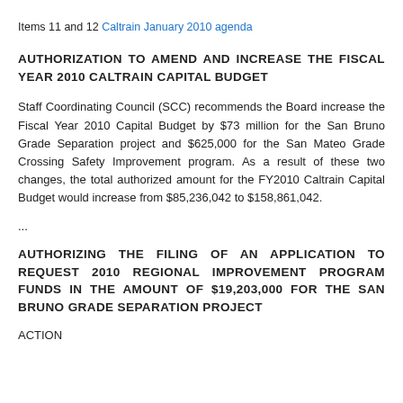Items 11 and 12 Caltrain January 2010 agenda
AUTHORIZATION TO AMEND AND INCREASE THE FISCAL YEAR 2010 CALTRAIN CAPITAL BUDGET
Staff Coordinating Council (SCC) recommends the Board increase the Fiscal Year 2010 Capital Budget by $73 million for the San Bruno Grade Separation project and $625,000 for the San Mateo Grade Crossing Safety Improvement program. As a result of these two changes, the total authorized amount for the FY2010 Caltrain Capital Budget would increase from $85,236,042 to $158,861,042.
...
AUTHORIZING THE FILING OF AN APPLICATION TO REQUEST 2010 REGIONAL IMPROVEMENT PROGRAM FUNDS IN THE AMOUNT OF $19,203,000 FOR THE SAN BRUNO GRADE SEPARATION PROJECT
ACTION